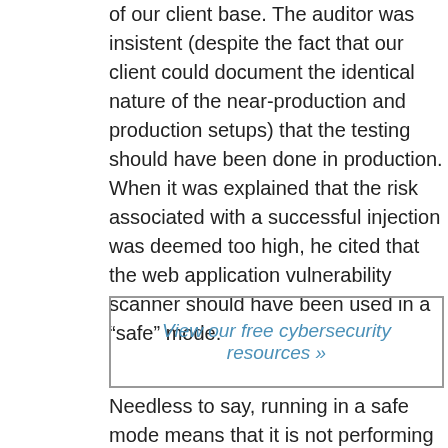of our client base. The auditor was insistent (despite the fact that our client could document the identical nature of the near-production and production setups) that the testing should have been done in production. When it was explained that the risk associated with a successful injection was deemed too high, he cited that the web application vulnerability scanner should have been used in a “safe” mode.
View our free cybersecurity resources »
Needless to say, running in a safe mode means that it is not performing those tests that are